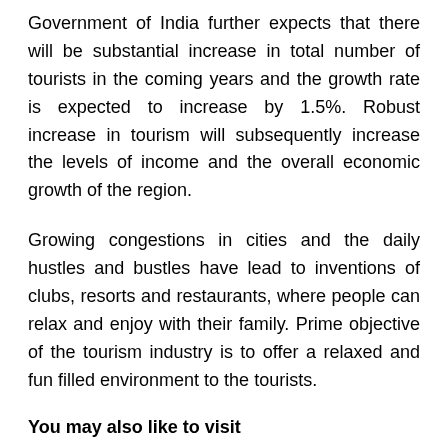Government of India further expects that there will be substantial increase in total number of tourists in the coming years and the growth rate is expected to increase by 1.5%. Robust increase in tourism will subsequently increase the levels of income and the overall economic growth of the region.
Growing congestions in cities and the daily hustles and bustles have lead to inventions of clubs, resorts and restaurants, where people can relax and enjoy with their family. Prime objective of the tourism industry is to offer a relaxed and fun filled environment to the tourists.
You may also like to visit
Gujarat Maritime Board